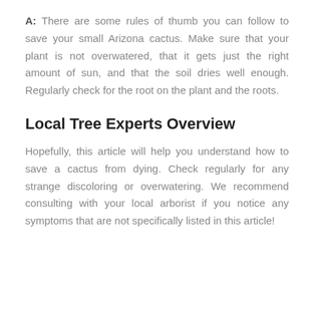A: There are some rules of thumb you can follow to save your small Arizona cactus. Make sure that your plant is not overwatered, that it gets just the right amount of sun, and that the soil dries well enough. Regularly check for the root on the plant and the roots.
Local Tree Experts Overview
Hopefully, this article will help you understand how to save a cactus from dying. Check regularly for any strange discoloring or overwatering. We recommend consulting with your local arborist if you notice any symptoms that are not specifically listed in this article!